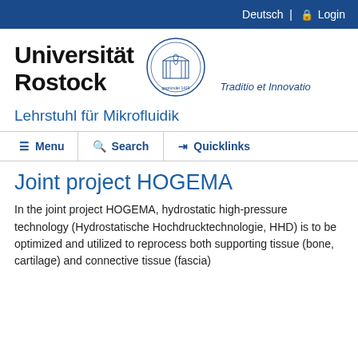Deutsch | Login
[Figure (logo): Universität Rostock logo with university seal and tagline 'Traditio et Innovatio']
Lehrstuhl für Mikrofluidik
≡ Menu   🔍 Search   ⇥ Quicklinks
Joint project HOGEMA
In the joint project HOGEMA, hydrostatic high-pressure technology (Hydrostatische Hochdrucktechnologie, HHD) is to be optimized and utilized to reprocess both supporting tissue (bone, cartilage) and connective tissue (fascia)